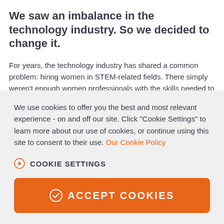We saw an imbalance in the technology industry. So we decided to change it.
For years, the technology industry has shared a common problem: hiring women in STEM-related fields. There simply weren't enough women professionals with the skills needed to support clients in the digital world.
The problem is complex, but Avanade decided the way we could affect change is to address it one woman at a time.
We use cookies to offer you the best and most relevant experience - on and off our site. Click "Cookie Settings" to learn more about our use of cookies, or continue using this site to consent to their use. Our Cookie Policy
COOKIE SETTINGS
ACCEPT COOKIES